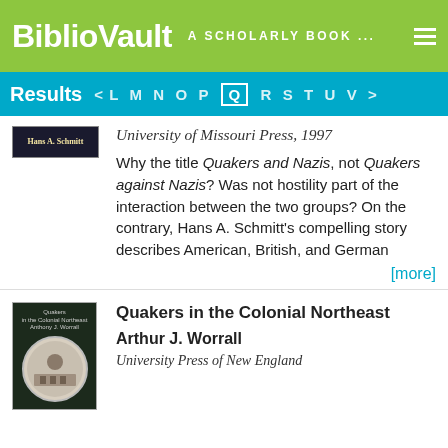BiblioVault  A SCHOLARLY BOOK ...
Results  < L M N O P Q R S T U V >
University of Missouri Press, 1997
Why the title Quakers and Nazis, not Quakers against Nazis? Was not hostility part of the interaction between the two groups? On the contrary, Hans A. Schmitt's compelling story describes American, British, and German
[more]
Quakers in the Colonial Northeast
Arthur J. Worrall
University Press of New England